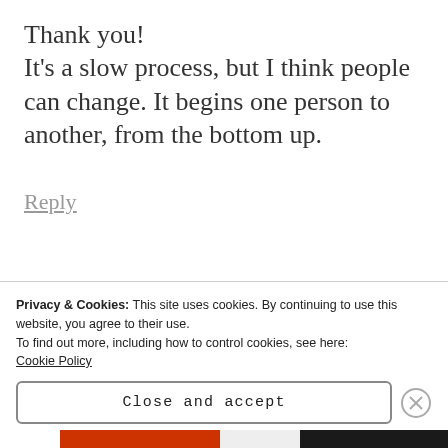Thank you!
It's a slow process, but I think people can change. It begins one person to another, from the bottom up.
Reply
them0rnhous
Privacy & Cookies: This site uses cookies. By continuing to use this website, you agree to their use.
To find out more, including how to control cookies, see here:
Cookie Policy
Close and accept